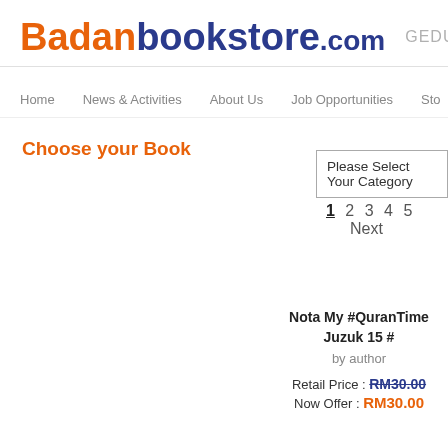Badanbookstore.com GEDUNG
Home
News & Activities
About Us
Job Opportunities
Sto...
Choose your Book
Please Select Your Category
1 2 3 4 5   Next
Nota My #QuranTime Juzuk 15 #
by author
Retail Price : RM30.00
Now Offer : RM30.00